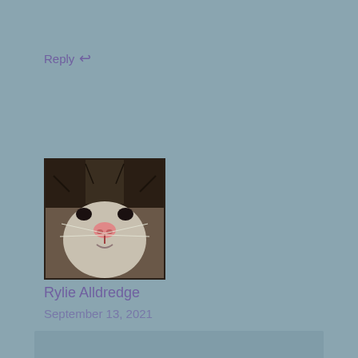Reply ↩
[Figure (photo): Close-up photo of a ferret's face showing its nose and markings]
Rylie Alldredge
September 13, 2021
I loved the style of this video!
Reply ↩